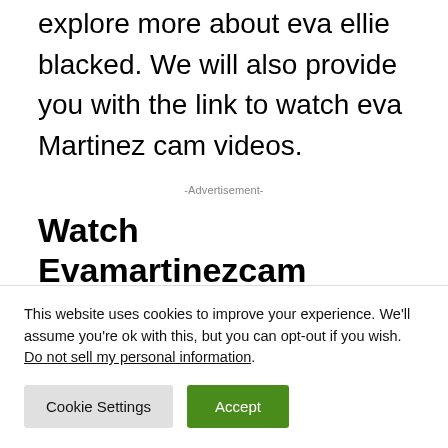explore more about eva ellie blacked. We will also provide you with the link to watch eva Martinez cam videos.
-Advertisement-
Watch Evamartinezcam Twitter Video – Why eva Martinez cam is Trending?
This website uses cookies to improve your experience. We'll assume you're ok with this, but you can opt-out if you wish.
Do not sell my personal information.